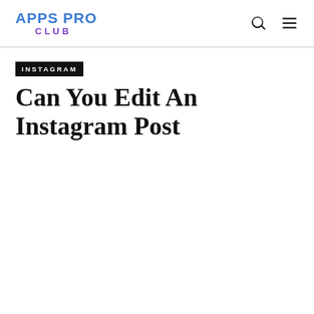APPS PRO CLUB
INSTAGRAM
Can You Edit An Instagram Post